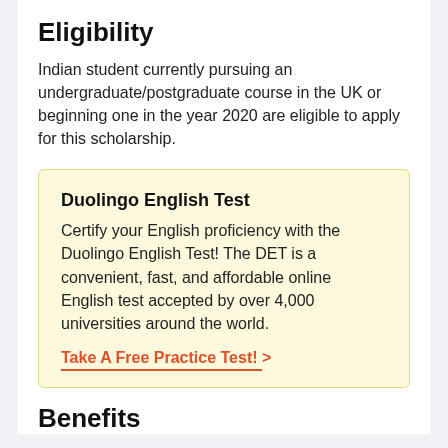Eligibility
Indian student currently pursuing an undergraduate/postgraduate course in the UK or beginning one in the year 2020 are eligible to apply for this scholarship.
Duolingo English Test
Certify your English proficiency with the Duolingo English Test! The DET is a convenient, fast, and affordable online English test accepted by over 4,000 universities around the world.
Take A Free Practice Test! >
Benefits